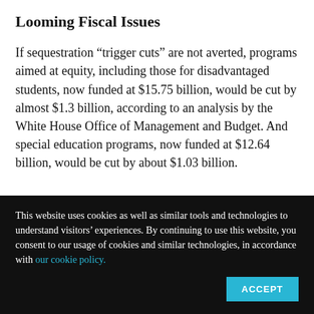Looming Fiscal Issues
If sequestration “trigger cuts” are not averted, programs aimed at equity, including those for disadvantaged students, now funded at $15.75 billion, would be cut by almost $1.3 billion, according to an analysis by the White House Office of Management and Budget. And special education programs, now funded at $12.64 billion, would be cut by about $1.03 billion.
This website uses cookies as well as similar tools and technologies to understand visitors’ experiences. By continuing to use this website, you consent to our usage of cookies and similar technologies, in accordance with our cookie policy.